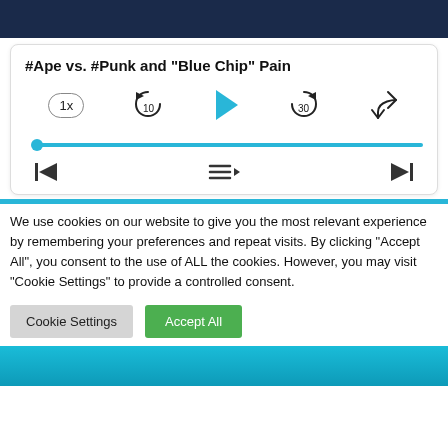[Figure (screenshot): Top dark blue image strip (partial screenshot of media content)]
#Ape vs. #Punk and "Blue Chip" Pain
[Figure (screenshot): Audio player controls: speed button (1x), rewind 10s, play button, forward 30s, share button, progress bar with cyan thumb, previous track, playlist, next track buttons]
We use cookies on our website to give you the most relevant experience by remembering your preferences and repeat visits. By clicking “Accept All”, you consent to the use of ALL the cookies. However, you may visit "Cookie Settings" to provide a controlled consent.
Cookie Settings   Accept All
[Figure (photo): Bottom partial image showing person in teal/cyan shirt]